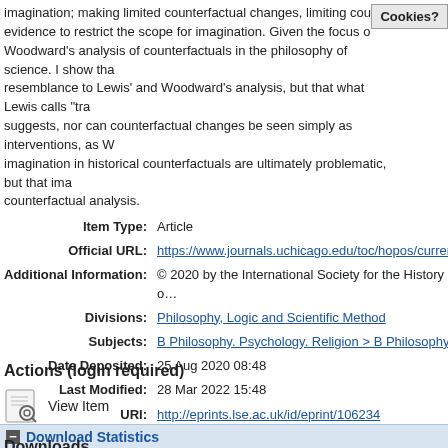imagination; making limited counterfactual changes, limiting cou evidence to restrict the scope for imagination. Given the focus o Woodward's analysis of counterfactuals in the philosophy of science. I show tha resemblance to Lewis' and Woodward's analysis, but that what Lewis calls "tra suggests, nor can counterfactual changes be seen simply as interventions, as W imagination in historical counterfactuals are ultimately problematic, but that ima counterfactual analysis.
| Field | Value |
| --- | --- |
| Item Type: | Article |
| Official URL: | https://www.journals.uchicago.edu/toc/hopos/curren… |
| Additional Information: | © 2020 by the International Society for the History o… |
| Divisions: | Philosophy, Logic and Scientific Method |
| Subjects: | B Philosophy. Psychology. Religion > B Philosophy… |
| Date Deposited: | 25 Aug 2020 08:48 |
| Last Modified: | 28 Mar 2022 15:48 |
| URI: | http://eprints.lse.ac.uk/id/eprint/106234 |
Actions (login required)
View Item
Download Statistics
Downloads